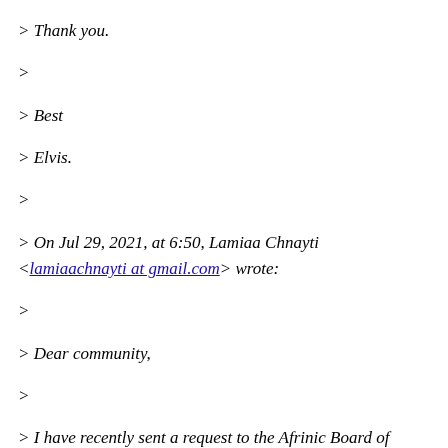> Thank you.
>
> Best
> Elvis.
>
> On Jul 29, 2021, at 6:50, Lamiaa Chnayti <lamiaachnayti at gmail.com> wrote:
>
> Dear community,
>
> I have recently sent a request to the Afrinic Board of Directors to recall
> the PDWG co-chairs, based on their recent actions on both the last policy